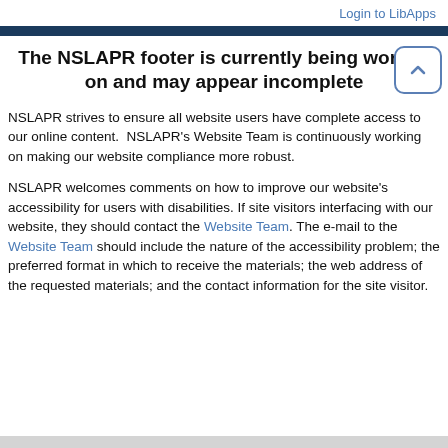Login to LibApps
The NSLAPR footer is currently being worked on and may appear incomplete
NSLAPR strives to ensure all website users have complete access to our online content.  NSLAPR's Website Team is continuously working on making our website compliance more robust.
NSLAPR welcomes comments on how to improve our website's accessibility for users with disabilities. If site visitors interfacing with our website, they should contact the Website Team. The e-mail to the Website Team should include the nature of the accessibility problem; the preferred format in which to receive the materials; the web address of the requested materials; and the contact information for the site visitor.